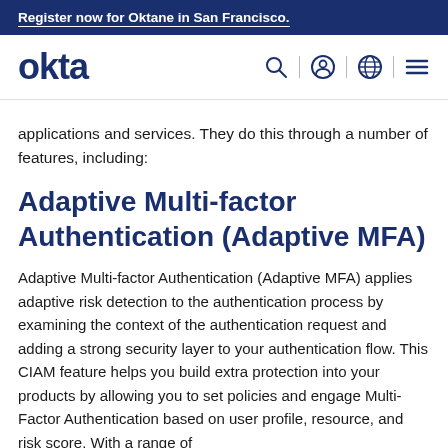Register now for Oktane in San Francisco.
[Figure (logo): Okta logo with navigation icons: search, user, globe, and hamburger menu]
applications and services. They do this through a number of features, including:
Adaptive Multi-factor Authentication (Adaptive MFA)
Adaptive Multi-factor Authentication (Adaptive MFA) applies adaptive risk detection to the authentication process by examining the context of the authentication request and adding a strong security layer to your authentication flow. This CIAM feature helps you build extra protection into your products by allowing you to set policies and engage Multi-Factor Authentication based on user profile, resource, and risk score. With a range of